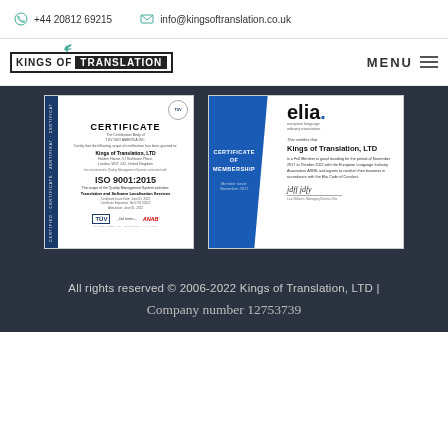+44 20812 69215   info@kingsoftranslation.co.uk
[Figure (logo): Kings of Translation logo with bird icon, bordered box with dark background for TRANSLATION word]
MENU
[Figure (photo): ISO 9001:2015 Certificate issued by TÜV SÜD AMERICA INC. for Kings of Translation, LTD, Holden House, 57 Rathbone Place, London, W1T 1JU, United Kingdom for Translation and Software Localisation Services]
[Figure (photo): ELIA Certificate of Membership stating Kings of Translation, LTD is a Full Member in good standing for the period of November 2017 to October 2022 with the European Language Industry Association AISBL and agrees to conduct their business in accordance with the Elia Code of Conduct. Member since November 2017.]
All rights reserved © 2006-2022 Kings of Translation, LTD | Company number 12753739